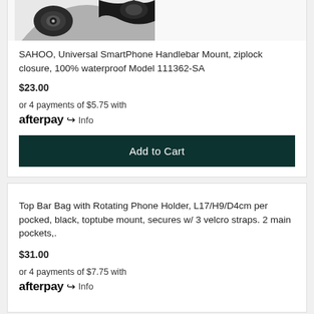[Figure (photo): Partial product image of SAHOO Universal SmartPhone Handlebar Mount, showing top portion of the device with camera-like lens visible, black product on white/grey background.]
SAHOO, Universal SmartPhone Handlebar Mount, ziplock closure, 100% waterproof Model 111362-SA
$23.00
or 4 payments of $5.75 with afterpay Info
Add to Cart
Top Bar Bag with Rotating Phone Holder, L17/H9/D4cm per pocked, black, toptube mount, secures w/ 3 velcro straps. 2 main pockets,.
$31.00
or 4 payments of $7.75 with afterpay Info